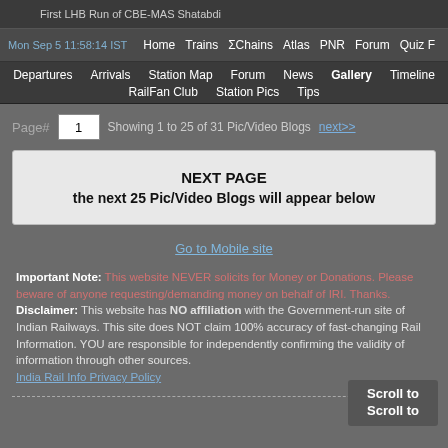First LHB Run of CBE-MAS Shatabdi
Mon Sep 5 11:58:14 IST  Home  Trains  ΣChains  Atlas  PNR  Forum  Quiz F
Departures  Arrivals  Station Map  Forum  News  Gallery  Timeline  RailFan Club  Station Pics  Tips
Page#  1  Showing 1 to 25 of 31 Pic/Video Blogs  next>>
NEXT PAGE
the next 25 Pic/Video Blogs will appear below
Go to Mobile site
Important Note: This website NEVER solicits for Money or Donations. Please beware of anyone requesting/demanding money on behalf of IRI. Thanks.
Disclaimer: This website has NO affiliation with the Government-run site of Indian Railways. This site does NOT claim 100% accuracy of fast-changing Rail Information. YOU are responsible for independently confirming the validity of information through other sources.
India Rail Info Privacy Policy
Scroll to
Scroll to